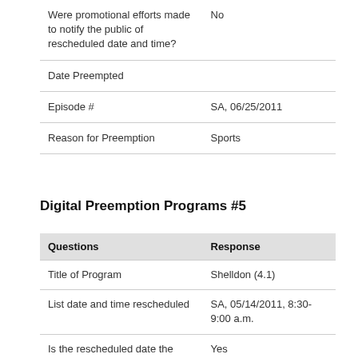| Questions | Response |
| --- | --- |
| Were promotional efforts made to notify the public of rescheduled date and time? | No |
| Date Preempted |  |
| Episode # | SA, 06/25/2011 |
| Reason for Preemption | Sports |
Digital Preemption Programs #5
| Questions | Response |
| --- | --- |
| Title of Program | Shelldon (4.1) |
| List date and time rescheduled | SA, 05/14/2011, 8:30-9:00 a.m. |
| Is the rescheduled date the second home? | Yes |
| Were promotional efforts | No |